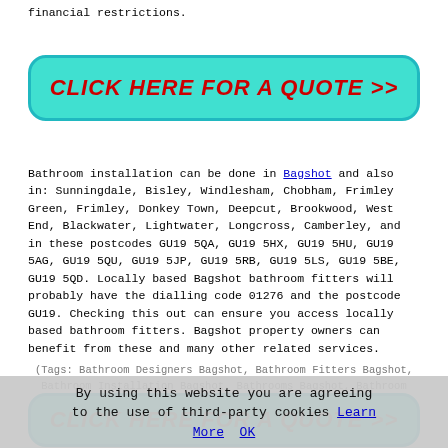financial restrictions.
[Figure (other): Cyan rounded button with bold italic red text: CLICK HERE FOR A QUOTE >>]
Bathroom installation can be done in Bagshot and also in: Sunningdale, Bisley, Windlesham, Chobham, Frimley Green, Frimley, Donkey Town, Deepcut, Brookwood, West End, Blackwater, Lightwater, Longcross, Camberley, and in these postcodes GU19 5QA, GU19 5HX, GU19 5HU, GU19 5AG, GU19 5QU, GU19 5JP, GU19 5RB, GU19 5LS, GU19 5BE, GU19 5QD. Locally based Bagshot bathroom fitters will probably have the dialling code 01276 and the postcode GU19. Checking this out can ensure you access locally based bathroom fitters. Bagshot property owners can benefit from these and many other related services.
(Tags: Bathroom Designers Bagshot, Bathroom Fitters Bagshot, Bathroom Installation Bagshot, Bathrooms Bagshot, Bathroom Installers Bagshot)
[Figure (other): Partially visible cyan rounded button at bottom with bold italic red text: CLICK HERE FOR A QUOTE >>]
By using this website you are agreeing to the use of third-party cookies Learn More  OK